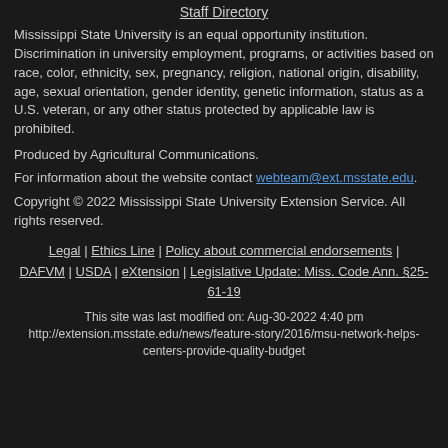Staff Directory
Mississippi State University is an equal opportunity institution. Discrimination in university employment, programs, or activities based on race, color, ethnicity, sex, pregnancy, religion, national origin, disability, age, sexual orientation, gender identity, genetic information, status as a U.S. veteran, or any other status protected by applicable law is prohibited.
Produced by Agricultural Communications.
For information about the website contact webteam@ext.msstate.edu.
Copyright © 2022 Mississippi State University Extension Service. All rights reserved.
Legal | Ethics Line | Policy about commercial endorsements | DAFVM | USDA | eXtension | Legislative Update: Miss. Code Ann. §25-61-19
This site was last modified on: Aug-30-2022 4:40 pm
http://extension.msstate.edu/news/feature-story/2016/msu-network-helps-centers-provide-quality-budget